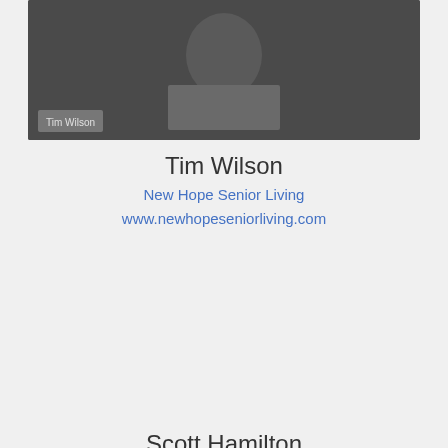[Figure (screenshot): Video thumbnail showing a person wearing a plaid shirt with a name label 'Tim Wilson' at the bottom left]
Tim Wilson
New Hope Senior Living
www.newhopeseniorliving.com
[Figure (screenshot): Video player showing an elderly man in a hallway with a 'Player error' overlay message reading: 'The player is having trouble. We'll have it back up and running as soon as possible.' with a close (X) button in the top right.]
Scott Hamilton